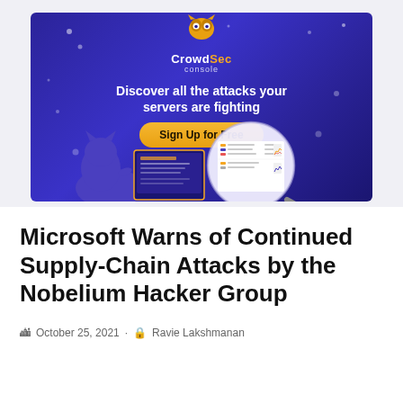[Figure (illustration): CrowdSec console advertisement banner with dark purple/blue gradient background. Shows CrowdSec logo with owl mascot at top, tagline 'Discover all the attacks your servers are fighting', a yellow 'Sign Up for Free' button, and an illustrated cat character looking at a monitor screen with a magnifying glass overlay showing dashboard analytics charts.]
Microsoft Warns of Continued Supply-Chain Attacks by the Nobelium Hacker Group
October 25, 2021 · Ravie Lakshmanan